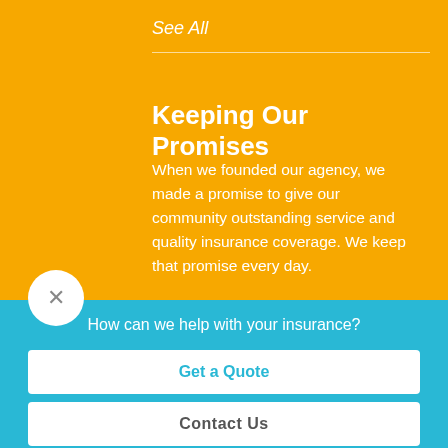See All
Keeping Our Promises
When we founded our agency, we made a promise to give our community outstanding service and quality insurance coverage. We keep that promise every day.
How can we help with your insurance?
Get a Quote
Contact Us